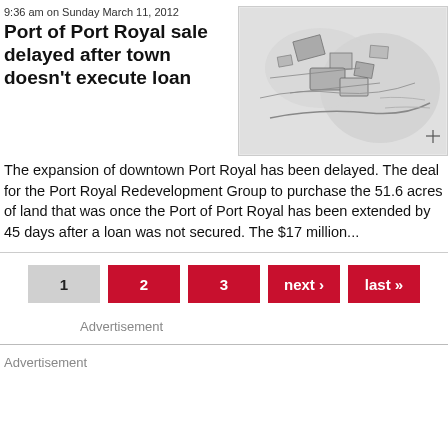9:36 am on Sunday March 11, 2012
Port of Port Royal sale delayed after town doesn't execute loan
[Figure (map): Aerial or site map of Port Royal area showing a port/waterfront development plan with building footprints and waterways]
The expansion of downtown Port Royal has been delayed. The deal for the Port Royal Redevelopment Group to purchase the 51.6 acres of land that was once the Port of Port Royal has been extended by 45 days after a loan was not secured. The $17 million...
Advertisement
Advertisement